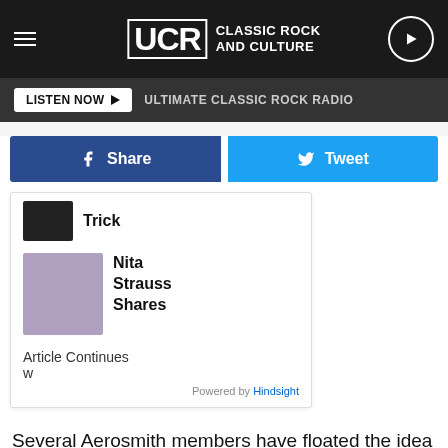UCR Classic Rock and Culture
LISTEN NOW ▶  ULTIMATE CLASSIC ROCK RADIO
f Share   Tweet
[Figure (other): Sidebar widget with article thumbnails: 'Trick' and 'Nita Strauss Shares'. Article Continues. Powered by Hindsight.]
Several Aerosmith members have floated the idea of a farewell tour in recent years, but Joe Perry told Rolling Stone in 2016 that they were only "considering" it. "A farewell tour is something we've talked about doing for years, let's